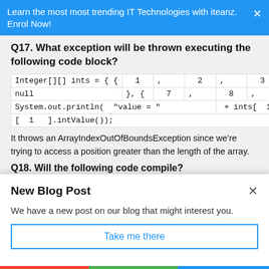Learn the most most trending IT Technologies with iteanz. Enrol Now!
Q17. What exception will be thrown executing the following code block?
[Figure (screenshot): Code block showing: Integer[][] ints = { { 1 , 2 , 3 }, { null }, { 7 , 8 , 9 } }; System.out.println( "value = " + ints[ 1 ][ 1 ].intValue());]
It throws an ArrayIndexOutOfBoundsException since we’re trying to access a position greater than the length of the array.
Q18. Will the following code compile?
New Blog Post
We have a new post on our blog that might interest you.
Take me there